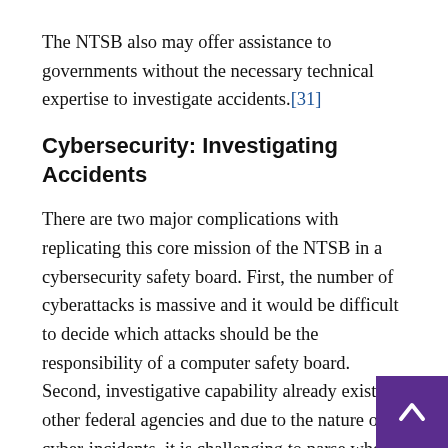The NTSB also may offer assistance to governments without the necessary technical expertise to investigate accidents.[31]
Cybersecurity: Investigating Accidents
There are two major complications with replicating this core mission of the NTSB in a cybersecurity safety board. First, the number of cyberattacks is massive and it would be difficult to decide which attacks should be the responsibility of a computer safety board. Second, investigative capability already exists in other federal agencies and due to the nature of cyber-incidents, it is challenging to parse where authority should lie.
The number of cyberattacks that occur daily